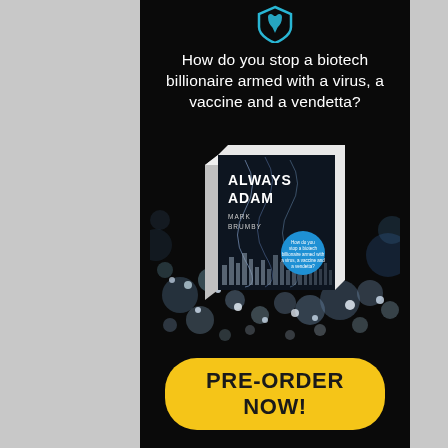[Figure (illustration): Blue shield/tooth icon at top of ad panel]
How do you stop a biotech billionaire armed with a virus, a vaccine and a vendetta?
[Figure (photo): Book cover of 'Always Adam' by Mark Brumby — 3D book with dark DNA/city background and blue circle badge]
PRE-ORDER NOW!